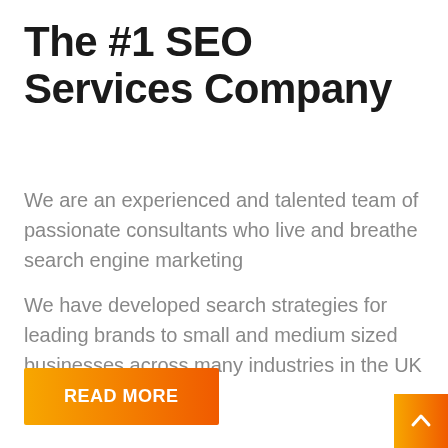The #1 SEO Services Company
We are an experienced and talented team of passionate consultants who live and breathe search engine marketing
We have developed search strategies for leading brands to small and medium sized businesses across many industries in the UK and worldwide.
[Figure (other): Orange gradient button labeled READ MORE]
[Figure (other): Orange gradient scroll-to-top button with upward chevron arrow in bottom right corner]